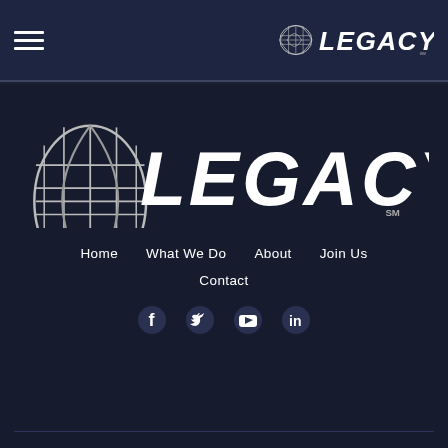Legacy — header navigation bar with hamburger menu and logo
[Figure (logo): Legacy logo large — globe/grid icon on left with LEGACY wordmark in bold condensed white lettering, SM mark at bottom right]
Home
What We Do
About
Join Us
Contact
[Figure (infographic): Social media icons: Facebook (f), Twitter (bird), YouTube (play button), LinkedIn (in)]